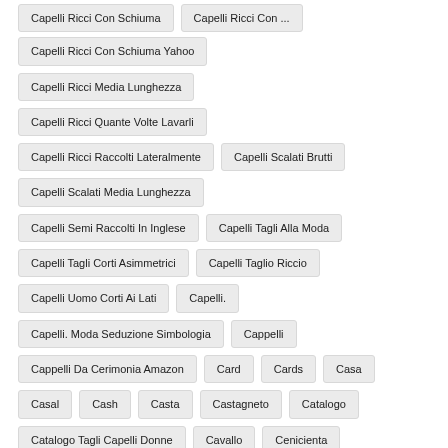Capelli Ricci Con Schiuma Yahoo
Capelli Ricci Media Lunghezza
Capelli Ricci Quante Volte Lavarli
Capelli Ricci Raccolti Lateralmente
Capelli Scalati Brutti
Capelli Scalati Media Lunghezza
Capelli Semi Raccolti In Inglese
Capelli Tagli Alla Moda
Capelli Tagli Corti Asimmetrici
Capelli Taglio Riccio
Capelli Uomo Corti Ai Lati
Capelli.
Capelli. Moda Seduzione Simbologia
Cappelli
Cappelli Da Cerimonia Amazon
Card
Cards
Casa
Casal
Cash
Casta
Castagneto
Catalogo
Catalogo Tagli Capelli Donne
Cavallo
Cenicienta
Cambietta
Cambietta Capelli Comunione
Cerimonia